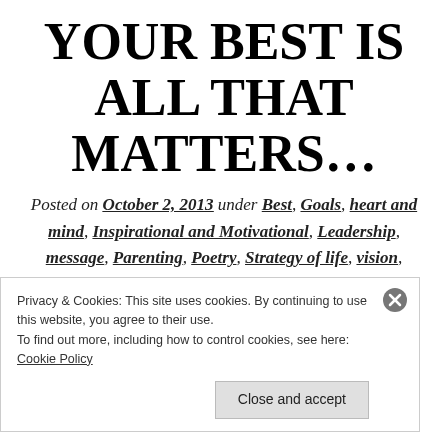YOUR BEST IS ALL THAT MATTERS…
Posted on October 2, 2013 under Best, Goals, heart and mind, Inspirational and Motivational, Leadership, message, Parenting, Poetry, Strategy of life, vision, Winning in life
[Figure (photo): Silhouette of plant leaves against a warm orange-pink sunset sky]
Privacy & Cookies: This site uses cookies. By continuing to use this website, you agree to their use. To find out more, including how to control cookies, see here: Cookie Policy